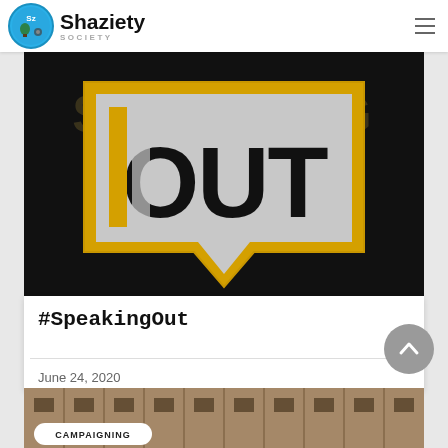Shaziety SOCIETY
[Figure (illustration): Speaking Out graphic: speech bubble with text 'OUT' in bold letters on dark background with gold/yellow border outline]
#SpeakingOut
June 24, 2020
[Figure (photo): Bottom of page showing a building facade photo with CAMPAIGNING badge label]